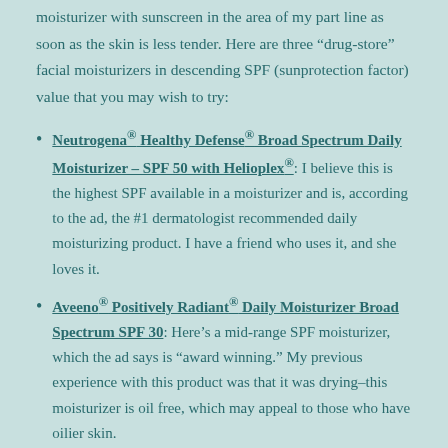moisturizer with sunscreen in the area of my part line as soon as the skin is less tender. Here are three “drug-store” facial moisturizers in descending SPF (sunprotection factor) value that you may wish to try:
Neutrogena® Healthy Defense® Broad Spectrum Daily Moisturizer – SPF 50 with Helioplex®: I believe this is the highest SPF available in a moisturizer and is, according to the ad, the #1 dermatologist recommended daily moisturizing product. I have a friend who uses it, and she loves it.
Aveeno® Positively Radiant® Daily Moisturizer Broad Spectrum SPF 30: Here’s a mid-range SPF moisturizer, which the ad says is “award winning.” My previous experience with this product was that it was drying–this moisturizer is oil free, which may appeal to those who have oilier skin.